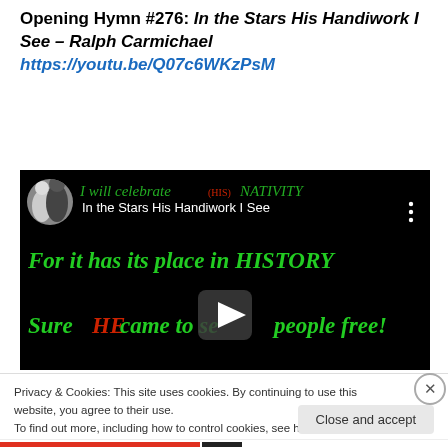Opening Hymn #276: In the Stars His Handiwork I See – Ralph Carmichael https://youtu.be/Q07c6WKzPsM
[Figure (screenshot): YouTube video thumbnail showing 'In the Stars His Handiwork I See' with black background, green italic karaoke-style lyrics: 'I will celebrate (HIS) NATIVITY', 'For it has its place in HISTORY', 'Sure HE came to set His people free!' with HE in red. Play button overlay. Video title bar with circular avatar of two people.]
Privacy & Cookies: This site uses cookies. By continuing to use this website, you agree to their use.
To find out more, including how to control cookies, see here: Cookie Policy